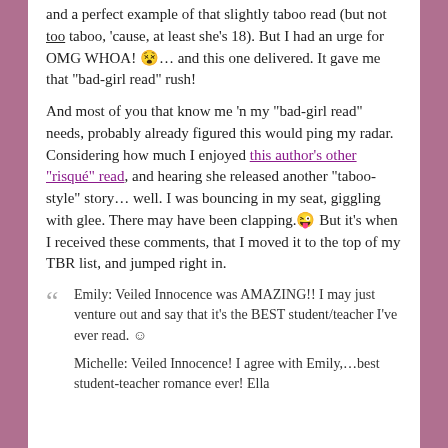and a perfect example of that slightly taboo read (but not too taboo, 'cause, at least she's 18). But I had an urge for OMG WHOA! 😵… and this one delivered. It gave me that "bad-girl read" rush!
And most of you that know me 'n my "bad-girl read" needs, probably already figured this would ping my radar. Considering how much I enjoyed this author's other "risqué" read, and hearing she released another "taboo-style" story… well. I was bouncing in my seat, giggling with glee. There may have been clapping. 😜 But it's when I received these comments, that I moved it to the top of my TBR list, and jumped right in.
" Emily: Veiled Innocence was AMAZING!!  I may just venture out and say that it's the BEST student/teacher I've ever read.  ☺

Michelle: Veiled Innocence! I agree with Emily,…best student-teacher romance ever! Ella